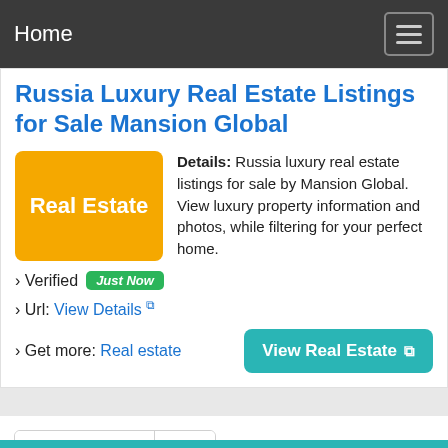Home
Russia Luxury Real Estate Listings for Sale Mansion Global
[Figure (other): Yellow badge with white text reading 'Real Estate']
Details: Russia luxury real estate listings for sale by Mansion Global. View luxury property information and photos, while filtering for your perfect home.
› Verified Just Now
› Url: View Details
› Get more: Real estate
View Real Estate
First Page  1